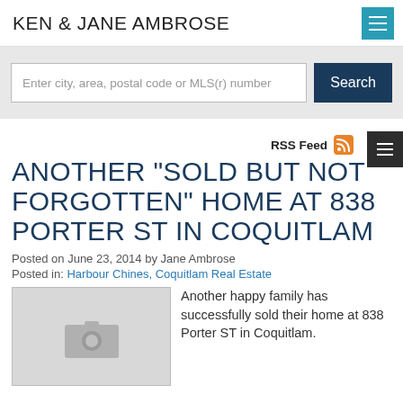KEN & JANE AMBROSE
Enter city, area, postal code or MLS(r) number
RSS Feed
ANOTHER "SOLD BUT NOT FORGOTTEN" HOME AT 838 PORTER ST IN COQUITLAM
Posted on June 23, 2014 by Jane Ambrose
Posted in: Harbour Chines, Coquitlam Real Estate
[Figure (photo): Placeholder image with camera icon]
Another happy family has successfully sold their home at 838 Porter ST in Coquitlam.